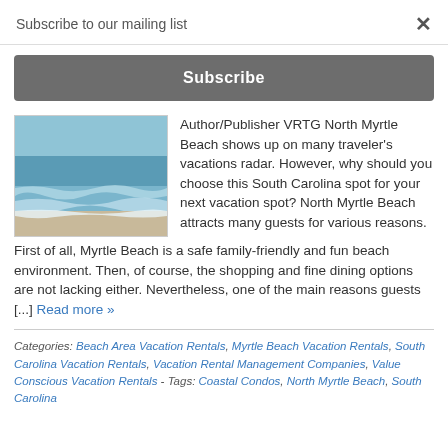Subscribe to our mailing list
×
Subscribe
[Figure (photo): Beach scene with ocean waves and sandy shore]
Author/Publisher VRTG North Myrtle Beach shows up on many traveler's vacations radar. However, why should you choose this South Carolina spot for your next vacation spot? North Myrtle Beach attracts many guests for various reasons.
First of all, Myrtle Beach is a safe family-friendly and fun beach environment. Then, of course, the shopping and fine dining options are not lacking either. Nevertheless, one of the main reasons guests [...] Read more »
Categories: Beach Area Vacation Rentals, Myrtle Beach Vacation Rentals, South Carolina Vacation Rentals, Vacation Rental Management Companies, Value Conscious Vacation Rentals - Tags: Coastal Condos, North Myrtle Beach, South Carolina